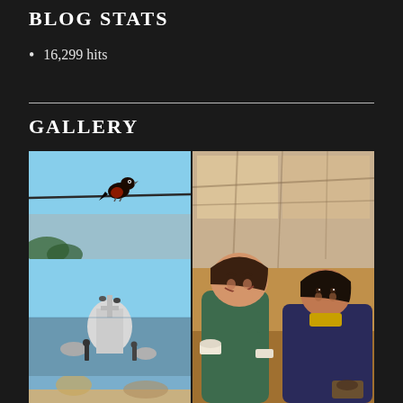BLOG STATS
16,299 hits
GALLERY
[Figure (photo): A small dark bird perched on a wire or branch against a blue sky background]
[Figure (photo): Coastal or shoreline scene with a white rocky structure and blue sky]
[Figure (photo): Vintage warm-toned photograph of two women smiling, seated at a table indoors]
[Figure (photo): Partial view of another photo at the bottom, cut off]